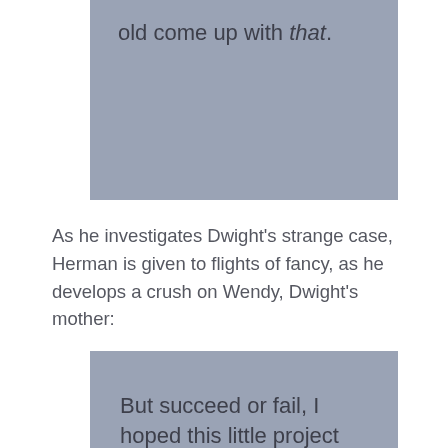old come up with that.
As he investigates Dwight's strange case, Herman is given to flights of fancy, as he develops a crush on Wendy, Dwight's mother:
But succeed or fail, I hoped this little project would turn out to be a sort of bonding experience for us–for Wendy and me, that is–something meaningful we had done together and